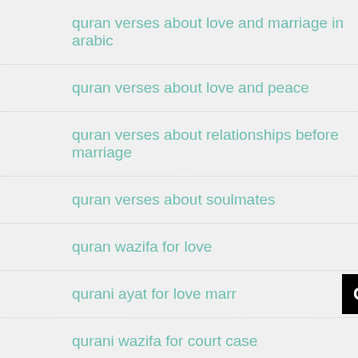quran verses about love and marriage in arabic
quran verses about love and peace
quran verses about relationships before marriage
quran verses about soulmates
quran wazifa for love
qurani ayat for love marr…
[Figure (screenshot): Black banner overlay with white bold text: Click to Consult on Whatsapp]
qurani wazifa for court case
quranic verses on love marriage
quranic wazifa for marriage
rabbi inni lima anzalta wazifa